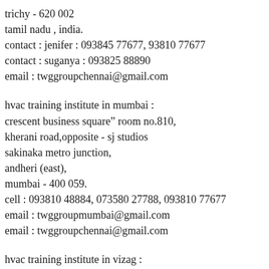trichy - 620 002
tamil nadu , india.
contact : jenifer : 093845 77677, 93810 77677
contact : suganya : 093825 88890
email : twggroupchennai@gmail.com
hvac training institute in mumbai :
crescent business square" room no.810,
kherani road,opposite - sj studios
sakinaka metro junction,
andheri (east),
mumbai - 400 059.
cell : 093810 48884, 073580 27788, 093810 77677
email : twggroupmumbai@gmail.com
email : twggroupchennai@gmail.com
hvac training institute in vizag :